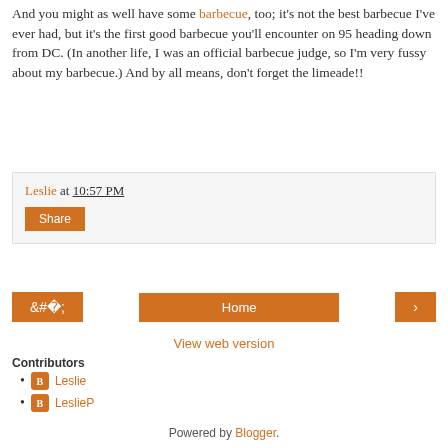And you might as well have some barbecue, too; it's not the best barbecue I've ever had, but it's the first good barbecue you'll encounter on 95 heading down from DC. (In another life, I was an official barbecue judge, so I'm very fussy about my barbecue.) And by all means, don't forget the limeade!!
Leslie at 10:57 PM
Share
[Figure (other): Navigation buttons: left arrow, Home, right arrow]
View web version
Contributors
Leslie
LeslieP
Powered by Blogger.